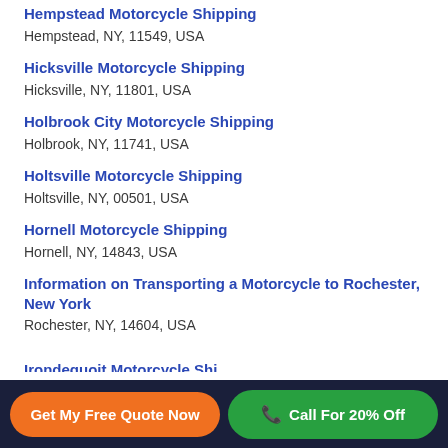Hempstead Motorcycle Shipping
Hempstead, NY, 11549, USA
Hicksville Motorcycle Shipping
Hicksville, NY, 11801, USA
Holbrook City Motorcycle Shipping
Holbrook, NY, 11741, USA
Holtsville Motorcycle Shipping
Holtsville, NY, 00501, USA
Hornell Motorcycle Shipping
Hornell, NY, 14843, USA
Information on Transporting a Motorcycle to Rochester, New York
Rochester, NY, 14604, USA
(partial title cut off at bottom)
Get My Free Quote Now
Call For 20% Off